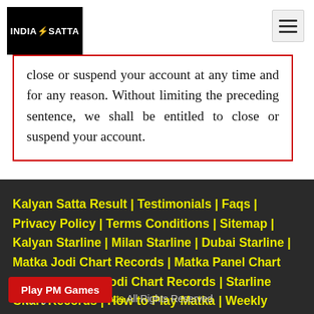[Figure (logo): IndiaSatta logo — black background with white text 'INDIA' and 'SATTA' and a red lightning bolt]
close or suspend your account at any time and for any reason. Without limiting the preceding sentence, we shall be entitled to close or suspend your account.
Kalyan Satta Result | Testimonials | Faqs | Privacy Policy | Terms Conditions | Sitemap | Kalyan Starline | Milan Starline | Dubai Starline | Matka Jodi Chart Records | Matka Panel Chart Records | King Jodi Chart Records | Starline Chart Records | How to Play Matka | Weekly Chart | Ank22 Card Panna | Main Mumbai | Kalyan Satta Matka | Play Matka App
Copyright 2021 Indiasatta All Rights Reserved